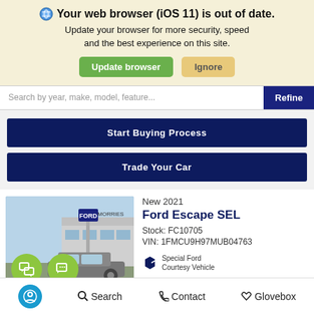🌐 Your web browser (iOS 11) is out of date. Update your browser for more security, speed and the best experience on this site.
Update browser | Ignore
Search by year, make, model, feature...
Refine
Start Buying Process
Trade Your Car
[Figure (photo): Car dealership exterior photo showing Morries Ford dealership with a 2021 Ford Escape in the foreground, chat icons overlaid]
New 2021
Ford Escape SEL
Stock: FC10705
VIN: 1FMCU9H97MUB04763
Special Ford Courtesy Vehicle
Accessibility | Search | Contact | Glovebox